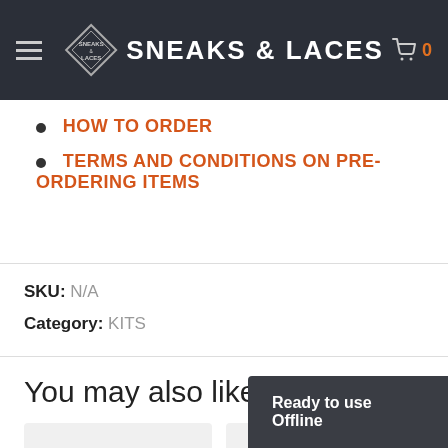SNEAKS & LACES
HOW TO ORDER
TERMS AND CONDITIONS ON PRE-ORDERING ITEMS
SKU: N/A
Category: KITS
You may also like...
Out of stock
Out of stock
Ready to use Offline